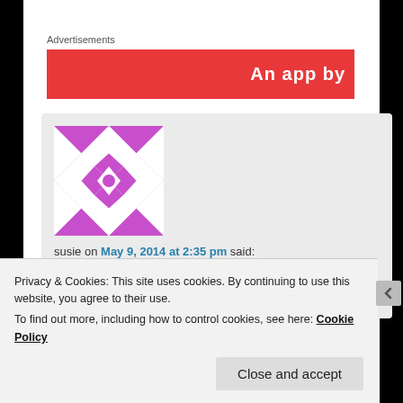Advertisements
[Figure (other): Red advertisement banner with white text partially visible reading 'An app by']
[Figure (illustration): Purple and white geometric quilt-pattern avatar icon]
susie on May 9, 2014 at 2:35 pm said:
U told my story only it was my best friend and Im still in the deep 2 yrs later. Ive become
Privacy & Cookies: This site uses cookies. By continuing to use this website, you agree to their use.
To find out more, including how to control cookies, see here: Cookie Policy
Close and accept